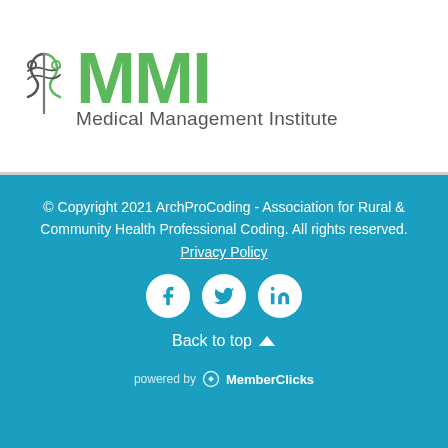[Figure (logo): MMI Medical Management Institute logo with green stylized caduceus icon and green bold MMI text with gray subtitle]
© Copyright 2021 ArchProCoding - Association for Rural & Community Health Professional Coding.  All rights reserved.
Privacy Policy
[Figure (other): Social media icons: Facebook, Twitter, LinkedIn in white circles on teal background]
Back to top ∧
powered by MemberClicks